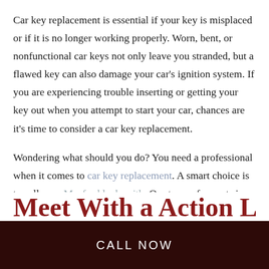Car key replacement is essential if your key is misplaced or if it is no longer working properly. Worn, bent, or nonfunctional car keys not only leave you stranded, but a flawed key can also damage your car's ignition system. If you are experiencing trouble inserting or getting your key out when you attempt to start your car, chances are it's time to consider a car key replacement.
Wondering what should you do? You need a professional when it comes to car key replacement. A smart choice is to call your Meaford locksmith. Our team of experts is the best suited to guarantee a quick reliable, and durable car key replacement.
Meet With a Action Lock
CALL NOW